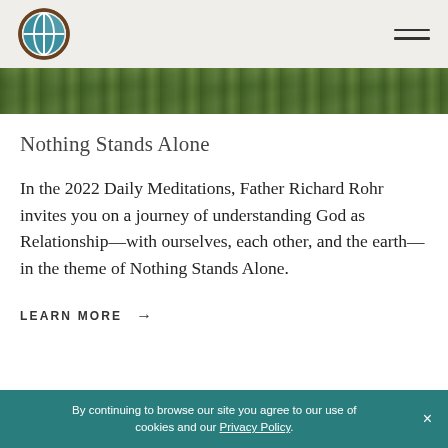[Figure (photo): Aerial or ground-level photo of trees with green foliage, shown as a horizontal strip at the top of the content area.]
Nothing Stands Alone
In the 2022 Daily Meditations, Father Richard Rohr invites you on a journey of understanding God as Relationship—with ourselves, each other, and the earth—in the theme of Nothing Stands Alone.
LEARN MORE →
By continuing to browse our site you agree to our use of cookies and our Privacy Policy.